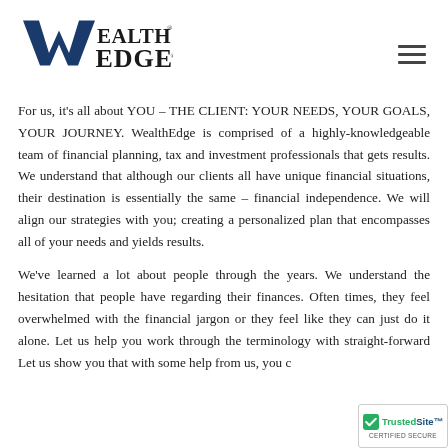[Figure (logo): WealthEdge logo - stylized W with 'WEALTH EDGE' text in dark blue and black]
For us, it's all about YOU – THE CLIENT: YOUR NEEDS, YOUR GOALS, YOUR JOURNEY. WealthEdge is comprised of a highly-knowledgeable team of financial planning, tax and investment professionals that gets results. We understand that although our clients all have unique financial situations, their destination is essentially the same – financial independence. We will align our strategies with you; creating a personalized plan that encompasses all of your needs and yields results.
We've learned a lot about people through the years. We understand the hesitation that people have regarding their finances. Often times, they feel overwhelmed with the financial jargon or they feel like they can just do it alone. Let us help you work through the terminology with straight-forward... Let us show you that with some help from us, you c...